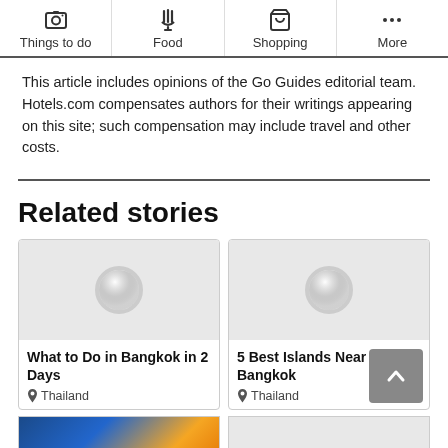Things to do | Food | Shopping | More
This article includes opinions of the Go Guides editorial team. Hotels.com compensates authors for their writings appearing on this site; such compensation may include travel and other costs.
Related stories
[Figure (screenshot): Card with loading spinner placeholder image for 'What to Do in Bangkok in 2 Days' article, Thailand]
[Figure (screenshot): Card with loading spinner placeholder image for '5 Best Islands Near Bangkok' article, Thailand]